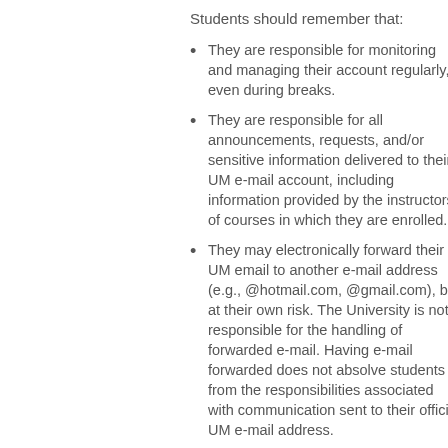Students should remember that:
They are responsible for monitoring and managing their account regularly, even during breaks.
They are responsible for all announcements, requests, and/or sensitive information delivered to their UM e-mail account, including information provided by the instructors of courses in which they are enrolled.
They may electronically forward their UM email to another e-mail address (e.g., @hotmail.com, @gmail.com), but at their own risk. The University is not responsible for the handling of forwarded e-mail. Having e-mail forwarded does not absolve students from the responsibilities associated with communication sent to their official UM e-mail address.
Questions regarding UM e-mail accounts should be directed to Information Services & Technology